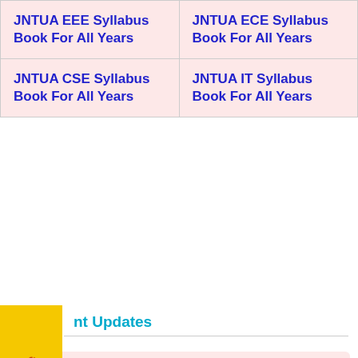| JNTUA EEE Syllabus Book For All Years | JNTUA ECE Syllabus Book For All Years |
| JNTUA CSE Syllabus Book For All Years | JNTUA IT Syllabus Book For All Years |
nt Updates
July 21, 2022 - JNTUA B.TECH 3-1 Supply Exam Time Table July/Aug 2022 For R19, R15, R13 Released
July 21, 2022 - JNTUA B.PHARM 3-1 Reg/Supply Exam Time Table July/Aug 2022 For R19, R15, R13 Released